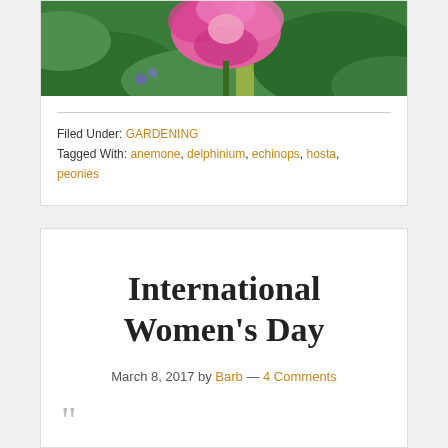[Figure (photo): Photograph of a pink flower (peony or similar) against green foliage background, cropped at top]
Filed Under: GARDENING
Tagged With: anemone, delphinium, echinops, hosta, peonies
International Women's Day
March 8, 2017 by Barb — 4 Comments